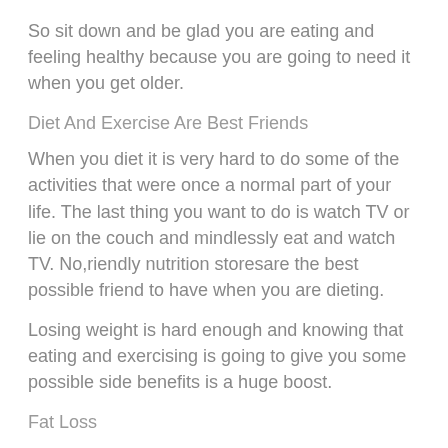So sit down and be glad you are eating and feeling healthy because you are going to need it when you get older.
Diet And Exercise Are Best Friends
When you diet it is very hard to do some of the activities that were once a normal part of your life. The last thing you want to do is watch TV or lie on the couch and mindlessly eat and watch TV. No,riendly nutrition storesare the best possible friend to have when you are dieting.
Losing weight is hard enough and knowing that eating and exercising is going to give you some possible side benefits is a huge boost.
Fat Loss
Calories play a big role in determining how much fat your body will store. Whenever you reduce the number of calories you intake the body will use the stored fuels it has in reserve